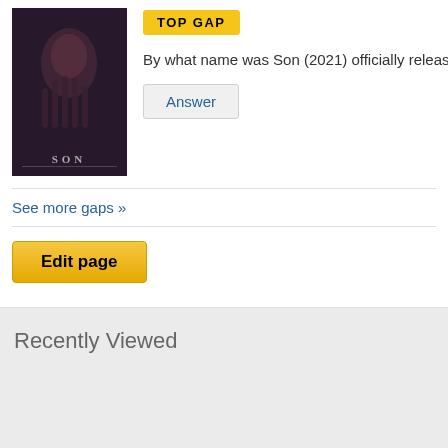[Figure (photo): Movie poster for Son (2021), dark horror-themed image with a person's face and hands]
TOP GAP
By what name was Son (2021) officially released in India
Answer
See more gaps »
Edit page
Recently Viewed